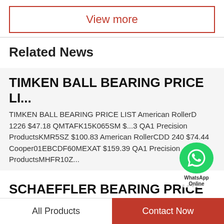View more
Related News
TIMKEN BALL BEARING PRICE LI...
TIMKEN BALL BEARING PRICE LIST American RollerD 1226 $47.18 QMTAFK15K065SM $...3 QA1 Precision ProductsKMR5SZ $100.83 American RollerCDD 240 $74.44 Cooper01EBCDF60MEXAT $159.39 QA1 Precision ProductsMHFR10Z...
SCHAEFFLER BEARING PRICE LIS...
SCHAEFFLER BEARING PRICE LIST 2019 Bearing Business U.CCR081414171.20 Nice Ball...
All Products
Contact Now